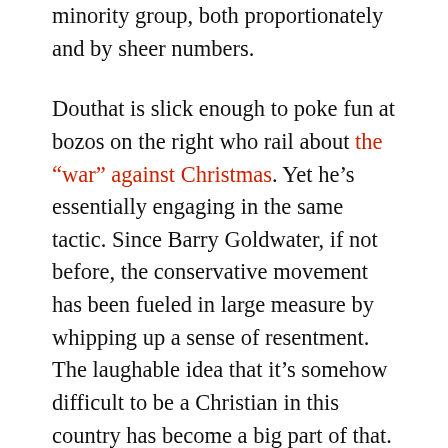minority group, both proportionately and by sheer numbers.
Douthat is slick enough to poke fun at bozos on the right who rail about the “war” against Christmas. Yet he’s essentially engaging in the same tactic. Since Barry Goldwater, if not before, the conservative movement has been fueled in large measure by whipping up a sense of resentment. The laughable idea that it’s somehow difficult to be a Christian in this country has become a big part of that.
When Douthat was hired to replace William Kristol on the Times op-ed page, he was supposed to represent something new, different and better: a younger, more